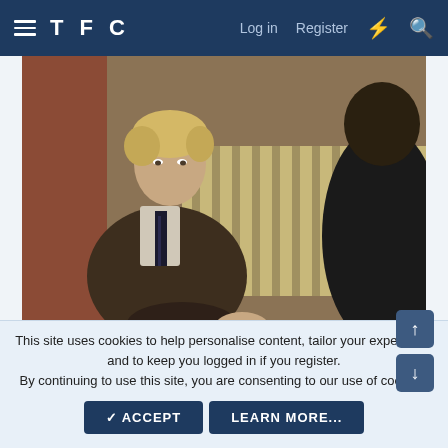TFC — Log in  Register
[Figure (photo): A man with blonde hair wearing a tweed suit and dark striped tie sits on a striped sofa, facing someone with dark hair whose back is to the camera. Interior setting with curtains and warm-toned walls visible in background.]
✓ 2
This site uses cookies to help personalise content, tailor your experience and to keep you logged in if you register.
By continuing to use this site, you are consenting to our use of cookies.
✓ ACCEPT   LEARN MORE...